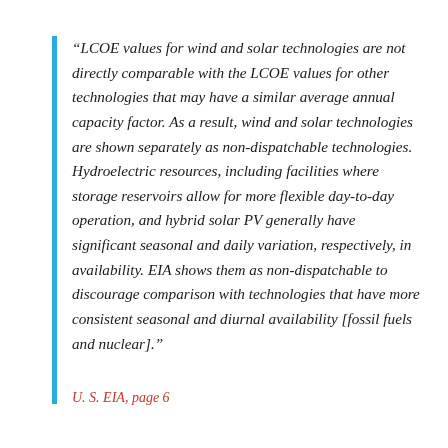“LCOE values for wind and solar technologies are not directly comparable with the LCOE values for other technologies that may have a similar average annual capacity factor. As a result, wind and solar technologies are shown separately as non-dispatchable technologies. Hydroelectric resources, including facilities where storage reservoirs allow for more flexible day-to-day operation, and hybrid solar PV generally have significant seasonal and daily variation, respectively, in availability. EIA shows them as non-dispatchable to discourage comparison with technologies that have more consistent seasonal and diurnal availability [fossil fuels and nuclear].”
U. S. EIA, page 6